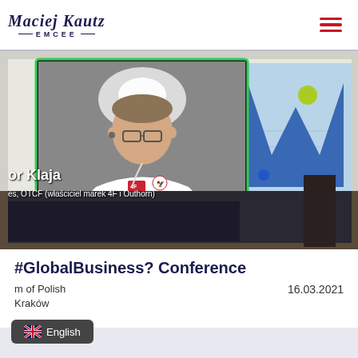Maciej Kautz EMCEE
[Figure (photo): Video conference screenshot showing a man in a white 4F Polish sports jersey in a video call window, overlaid on a conference presentation slide with a blue M logo. Text overlay shows 'or Klaja' and 'es, OTCF (właściciel marek 4F i Outhorn)']
#GlobalBusiness? Conference
m of Polish
Kraków
16.03.2021